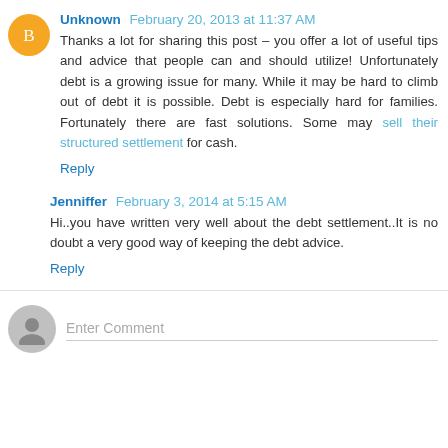Unknown  February 20, 2013 at 11:37 AM
Thanks a lot for sharing this post – you offer a lot of useful tips and advice that people can and should utilize! Unfortunately debt is a growing issue for many. While it may be hard to climb out of debt it is possible. Debt is especially hard for families. Fortunately there are fast solutions. Some may sell their structured settlement for cash.
Reply
Jenniffer  February 3, 2014 at 5:15 AM
Hi..you have written very well about the debt settlement..It is no doubt a very good way of keeping the debt advice.
Reply
Enter Comment